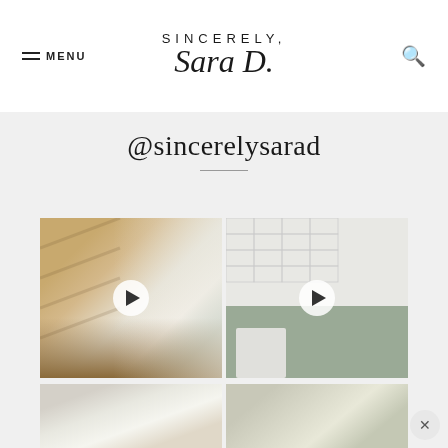SINCERELY, Sara D. — MENU | Search
@sincerelysarad
[Figure (photo): Instagram grid showing four posts: two wicker/rattan bar stools at a kitchen counter (video), a laundry room with sage green cabinets and subway tile (video), and two partially visible bottom row images]
[Figure (photo): Bottom row partially visible: left image appears to be a bathroom, right image appears to be a door/entryway]